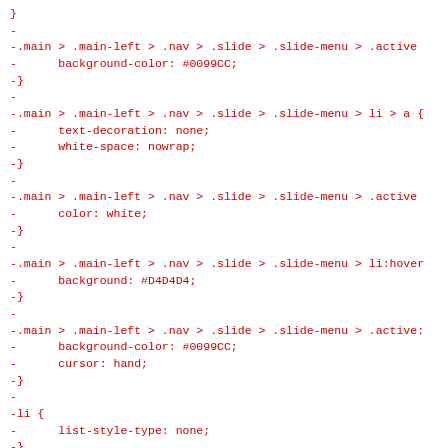}
-
-.main > .main-left > .nav > .slide > .slide-menu > .active
-      background-color: #0099CC;
-}
-
-.main > .main-left > .nav > .slide > .slide-menu > li > a {
-      text-decoration: none;
-      white-space: nowrap;
-}
-
-.main > .main-left > .nav > .slide > .slide-menu > .active
-      color: white;
-}
-
-.main > .main-left > .nav > .slide > .slide-menu > li:hover
-      background: #D4D4D4;
-}
-
-.main > .main-left > .nav > .slide > .slide-menu > .active:
-      background-color: #0099CC;
-      cursor: hand;
-}
-
-li {
-      list-style-type: none;
-}
-
-#maincontent > .container {
-      margin: 0 2rem 3rem 2rem;
-}
-
-h1 {